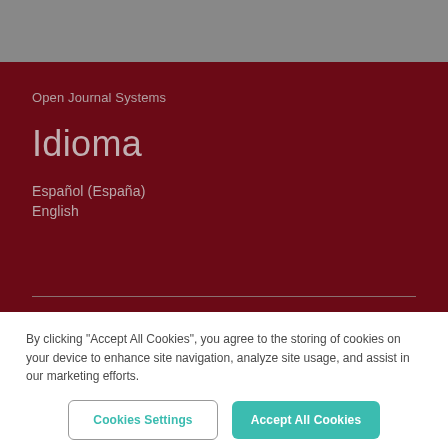Open Journal Systems
Idioma
Español (España)
English
By clicking “Accept All Cookies”, you agree to the storing of cookies on your device to enhance site navigation, analyze site usage, and assist in our marketing efforts.
Cookies Settings
Accept All Cookies